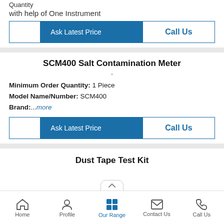Quantity
with help of One Instrument
[Figure (screenshot): Two buttons: 'Ask Latest Price' (blue) and 'Call Us' (outlined with blue text)]
SCM400 Salt Contamination Meter
Minimum Order Quantity: 1 Piece
Model Name/Number: SCM400
Brand:...more
[Figure (screenshot): Two buttons: 'Ask Latest Price' (blue) and 'Call Us' (outlined with blue text)]
Dust Tape Test Kit
Home | Profile | Our Range | Contact Us | Call Us